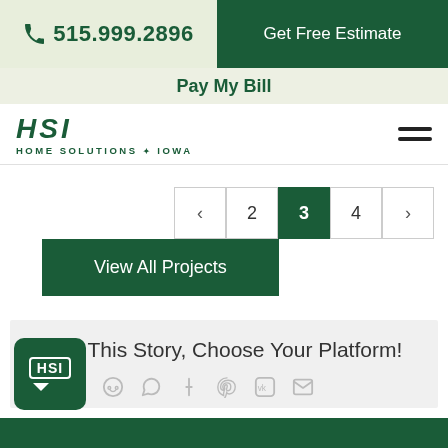515.999.2896 | Get Free Estimate
Pay My Bill
[Figure (logo): HSI Home Solutions of Iowa logo with hamburger menu icon]
[Figure (screenshot): Pagination navigation with pages < 2 3 4 > and View All Projects button]
Share This Story, Choose Your Platform!
[Figure (infographic): Social sharing icons: Twitter, LinkedIn, Reddit, WhatsApp, Tumblr, Pinterest, VK, Email]
[Figure (logo): HSI chat widget logo in dark green rounded square]